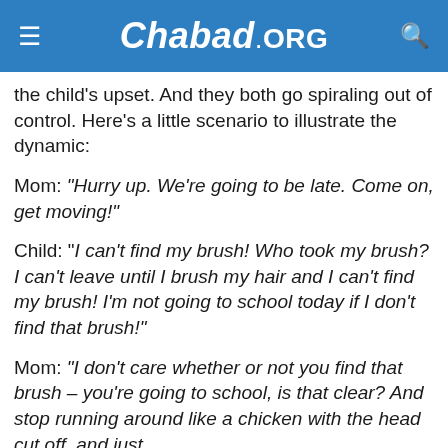Chabad.ORG
the child's upset. And they both go spiraling out of control. Here's a little scenario to illustrate the dynamic:
Mom: "Hurry up. We're going to be late. Come on, get moving!"
Child: "I can't find my brush! Who took my brush? I can't leave until I brush my hair and I can't find my brush! I'm not going to school today if I don't find that brush!"
Mom: "I don't care whether or not you find that brush – you're going to school, is that clear? And stop running around like a chicken with the head cut off, and just..."